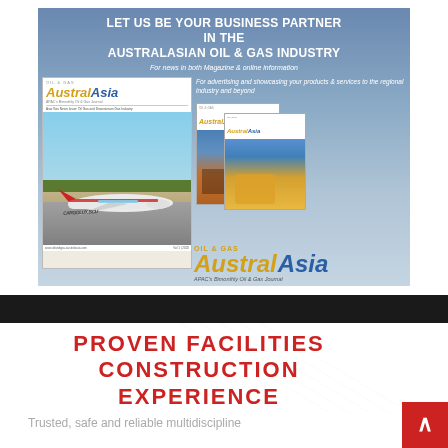[Figure (illustration): Advertisement for Oil & Gas AustralAsia magazine. Blue gradient background with text 'LET US BE YOUR BUSINESS PARTNER IN THE AUSTRALASIAN OIL & GAS INDUSTRY' and subtitle 'For news in both Magazine & online information'. Left side shows a magazine cover with a plane on a runway. Right side shows two smaller magazine covers with offshore/industrial imagery and text 'For advertising and showcasing your products & services to the regional industry and beyond'. Bottom right shows the OIL & GAS AustralAsia logo with tagline 'APAC's Bimonthly Oil & Gas Journal'.]
PROVEN FACILITIES CONSTRUCTION EXPERIENCE
Trusted, safe and reliable multidiscipline